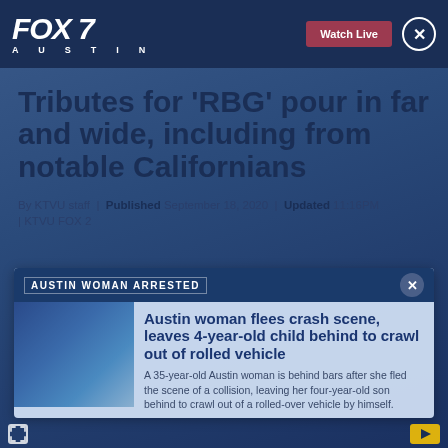FOX 7 AUSTIN | Watch Live
Tributes for 'RBG' pour in far and wide, including from notable Californians
By KTVU staff | Published September 18, 2020 | Updated 11:16PM | KTVU FOX 2
AUSTIN WOMAN ARRESTED
[Figure (photo): Blue/purple toned photo thumbnail for Austin woman arrested story]
Austin woman flees crash scene, leaves 4-year-old child behind to crawl out of rolled vehicle
A 35-year-old Austin woman is behind bars after she fled the scene of a collision, leaving her four-year-old son behind to crawl out of a rolled-over vehicle by himself.